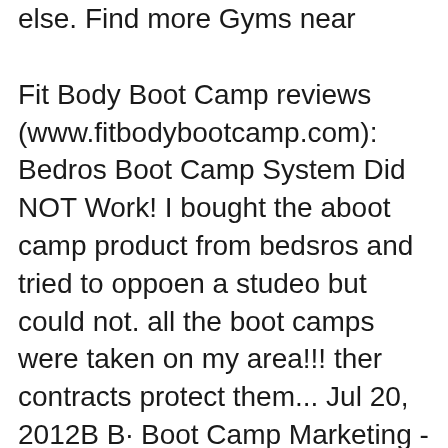else. Find more Gyms near
Fit Body Boot Camp reviews (www.fitbodybootcamp.com): Bedros Boot Camp System Did NOT Work! I bought the aboot camp product from bedsros and tried to oppoen a studeo but could not. all the boot camps were taken on my area!!! ther contracts protect them... Jul 20, 2012В В· Boot Camp Marketing - Fit body Boot Camp Franchise - Horror Stories Part 1 bestfitnessmarketing. Fit Body Boot Camp Franchise Owner Rebecca Tabbert Talks Mindset - вЂ¦
About Fit Body Boot Camp Fit Body Boot Camp's main focus is to help clients